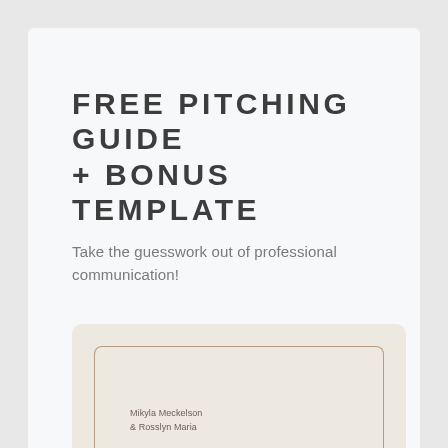FREE PITCHING GUIDE + BONUS TEMPLATE
Take the guesswork out of professional communication!
[Figure (illustration): Preview card with beige background and rounded border containing document cover with author names 'Mikyla Meckelson & Rosslyn Maria']